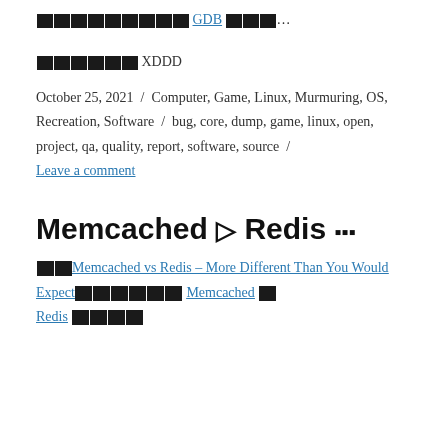████████ GDB ███…
██████ XDDD
October 25, 2021 / Computer, Game, Linux, Murmuring, OS, Recreation, Software / bug, core, dump, game, linux, open, project, qa, quality, report, software, source / Leave a comment
Memcached ▷ Redis ▪▪▪
██Memcached vs Redis – More Different Than You Would Expect██████ Memcached █ Redis ████